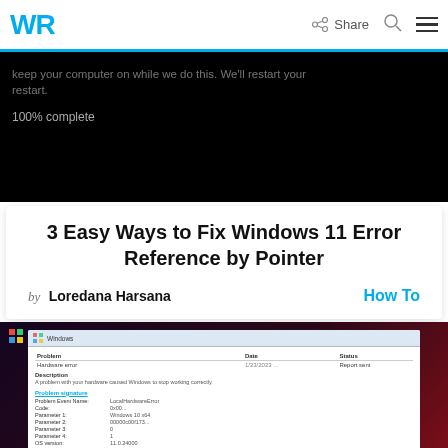WR | Share
[Figure (screenshot): Windows Update BSOD/blue screen showing progress text and '100% complete' on black background]
3 Easy Ways to Fix Windows 11 Error Reference by Pointer
by Loredana Harsana   How To
[Figure (screenshot): Windows Problem Reports and Solutions dialog showing Hardware error with problem signature details]